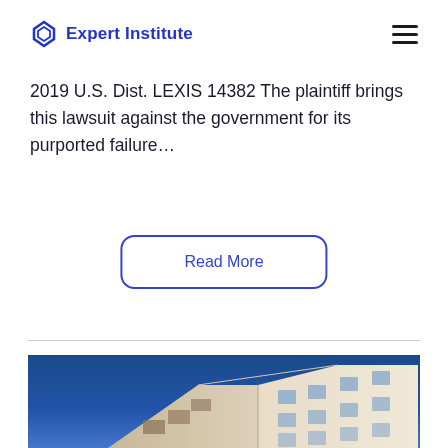Expert Institute
2019 U.S. Dist. LEXIS 14382 The plaintiff brings this lawsuit against the government for its purported failure…
Read More
[Figure (photo): Looking upward view of a modern multi-story apartment building with balconies against a blue sky]